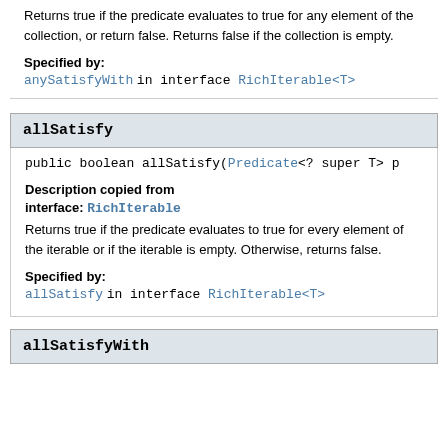Returns true if the predicate evaluates to true for any element of the collection, or return false. Returns false if the collection is empty.
Specified by:
anySatisfyWith in interface RichIterable<T>
allSatisfy
public boolean allSatisfy(Predicate<? super T> p
Description copied from interface: RichIterable
Returns true if the predicate evaluates to true for every element of the iterable or if the iterable is empty. Otherwise, returns false.
Specified by:
allSatisfy in interface RichIterable<T>
allSatisfyWith